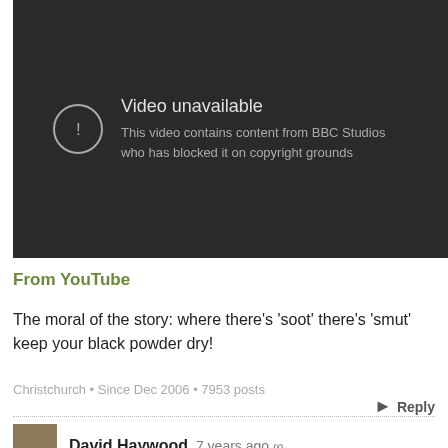[Figure (screenshot): YouTube video unavailable screen with dark background, exclamation icon in circle, text 'Video unavailable' and 'This video contains content from BBC Studios who has blocked it on copyright grounds']
From YouTube
The moral of the story: where there's 'soot' there's 'smut'
keep your black powder dry!
Christchurch • Since Dec 2006 • 7953 posts
Reply
David Haywood, 7 years ago ∞